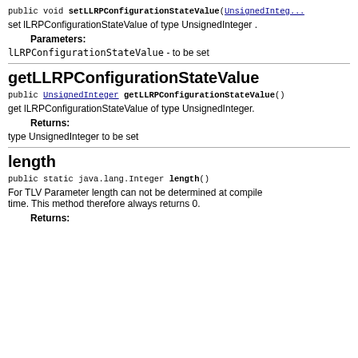public void setLLRPConfigurationStateValue(UnsignedInteger...)
set lLRPConfigurationStateValue of type UnsignedInteger .
Parameters:
lLRPConfigurationStateValue - to be set
getLLRPConfigurationStateValue
public UnsignedInteger getLLRPConfigurationStateValue()
get lLRPConfigurationStateValue of type UnsignedInteger.
Returns:
type UnsignedInteger to be set
length
public static java.lang.Integer length()
For TLV Parameter length can not be determined at compile time. This method therefore always returns 0.
Returns: